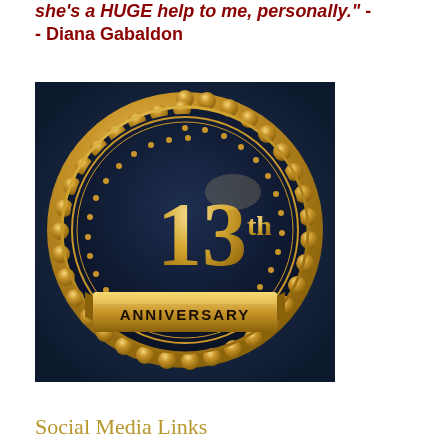she's a HUGE help to me, personally." -- Diana Gabaldon
[Figure (illustration): 13th Anniversary badge/seal with gold design on dark navy background. Large golden number '13' with superscript 'th', and a gold ribbon banner reading 'ANNIVERSARY' at the bottom. Scalloped gold circular border with dot accents.]
Social Media Links